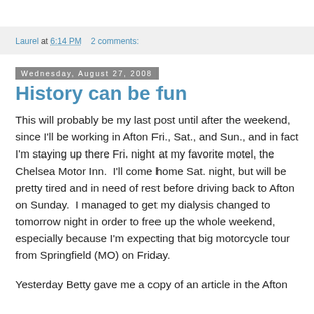Laurel at 6:14 PM    2 comments:
Wednesday, August 27, 2008
History can be fun
This will probably be my last post until after the weekend, since I'll be working in Afton Fri., Sat., and Sun., and in fact I'm staying up there Fri. night at my favorite motel, the Chelsea Motor Inn.  I'll come home Sat. night, but will be pretty tired and in need of rest before driving back to Afton on Sunday.  I managed to get my dialysis changed to tomorrow night in order to free up the whole weekend, especially because I'm expecting that big motorcycle tour from Springfield (MO) on Friday.
Yesterday Betty gave me a copy of an article in the Afton